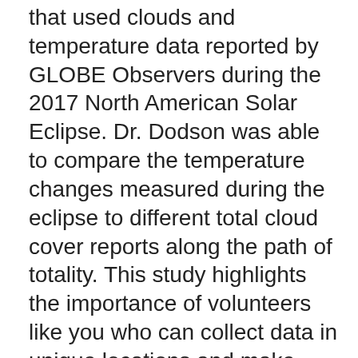that used clouds and temperature data reported by GLOBE Observers during the 2017 North American Solar Eclipse. Dr. Dodson was able to compare the temperature changes measured during the eclipse to different total cloud cover reports along the path of totality. This study highlights the importance of volunteers like you who can collect data in unique locations and make comparable observations to other datasets already used in research. The study was published in the Journal of Applied Meteorology and Climatology and is available at https://journals.ametsoc.org/doi/10.1175/JAMC-D-18-0297.1.